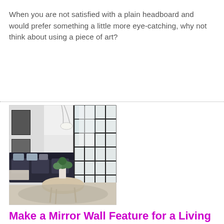When you are not satisfied with a plain headboard and would prefer something a little more eye-catching, why not think about using a piece of art?
[Figure (photo): Scandinavian-style living room with dark sofa, round wooden coffee table, plants, and a large black-framed glass partition wall dividing the space. Black and white art prints on the left wall, bright natural light.]
Make a Mirror Wall Feature for a Living Room